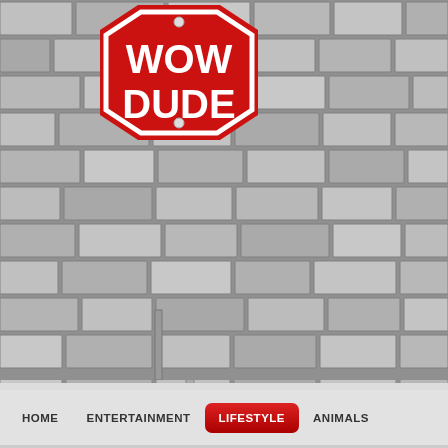[Figure (screenshot): Website header with brick wall background and WOW DUDE stop sign logo]
HOME  ENTERTAINMENT  LIFESTYLE  ANIMALS
HOME - LIFESTYLE
Penguin Random House Will Donate A Book Every Time Someone Uses #GiveaBook Ha...
The New York City book publisher has launched a social media campaign th... offer books to friends as ... children's rights organiza...